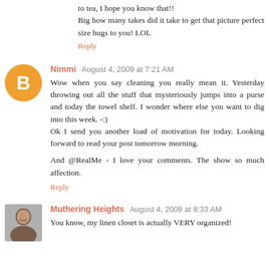to tea, I hope you know that!! Big how many takes did it take to get that picture perfect size hugs to you! LOL
Reply
Nimmi  August 4, 2009 at 7:21 AM
Wow when you say cleaning you really mean it. Yesterday throwing out all the stuff that mysteriously jumps into a purse and today the towel shelf. I wonder where else you want to dig into this week. -:)
Ok I send you another load of motivation for today. Looking forward to read your post tomorrow morning.

And @RealMe - I love your comments. The show so much affection.
Reply
Muthering Heights  August 4, 2009 at 8:33 AM
You know, my linen closet is actually VERY organized!